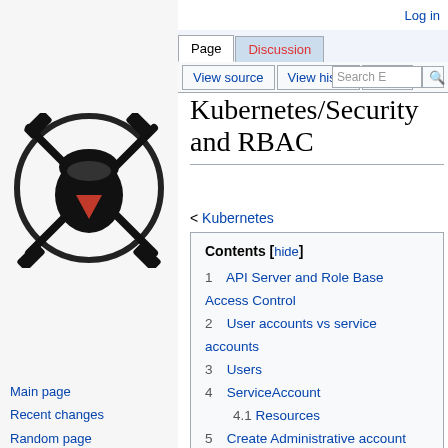[Figure (logo): MediaWiki logo — black circle with crossed tools and a red bird/character figure]
Log in
Page | Discussion | View source | View history | More
Kubernetes/Security and RBAC
< Kubernetes
Main page
Recent changes
Random page
Help about MediaWiki
Tools
What links here
Related changes
Special pages
Printable version
Permanent link
Page information
| # | Contents |
| --- | --- |
| 1 | API Server and Role Base Access Control |
| 2 | User accounts vs service accounts |
| 3 | Users |
| 4 | ServiceAccount |
| 4.1 | Resources |
| 5 | Create Administrative account |
| 6 | Create a role (namespaced permissions) |